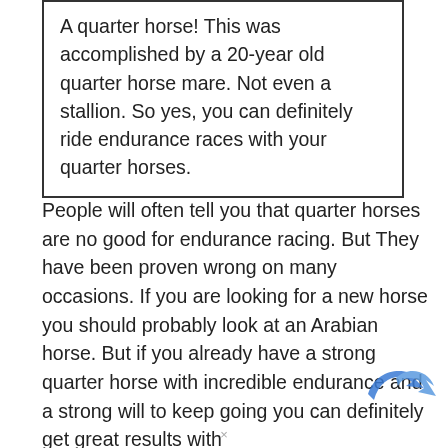A quarter horse! This was accomplished by a 20-year old quarter horse mare. Not even a stallion. So yes, you can definitely ride endurance races with your quarter horses.
People will often tell you that quarter horses are no good for endurance racing. But They have been proven wrong on many occasions. If you are looking for a new horse you should probably look at an Arabian horse. But if you already have a strong quarter horse with incredible endurance and a strong will to keep going you can definitely get great results with